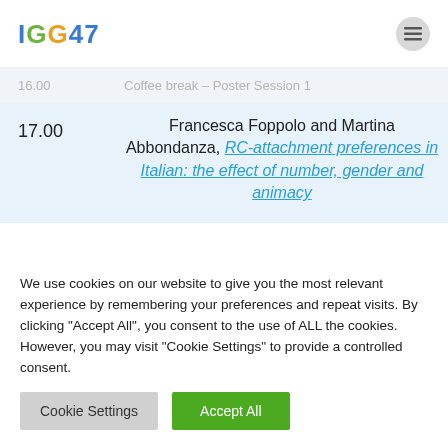IGG47
| Time | Event |
| --- | --- |
| 16.00 | Coffee break – Poster Session 1 |
| 17.00 | Francesca Foppolo and Martina Abbondanza, RC-attachment preferences in Italian: the effect of number, gender and animacy |
We use cookies on our website to give you the most relevant experience by remembering your preferences and repeat visits. By clicking "Accept All", you consent to the use of ALL the cookies. However, you may visit "Cookie Settings" to provide a controlled consent.
Cookie Settings
Accept All